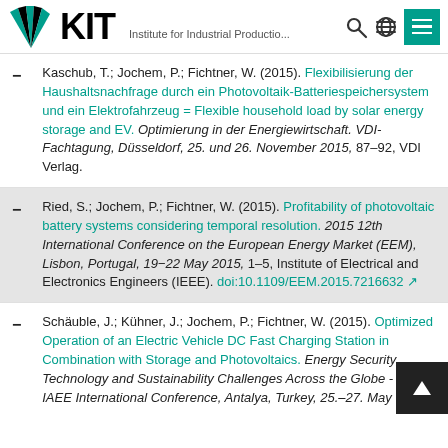KIT - Institute for Industrial Productio...
Kaschub, T.; Jochem, P.; Fichtner, W. (2015). Flexibilisierung der Haushaltsnachfrage durch ein Photovoltaik-Batteriespeichersystem und ein Elektrofahrzeug = Flexible household load by solar energy storage and EV. Optimierung in der Energiewirtschaft. VDI-Fachtagung, Düsseldorf, 25. und 26. November 2015, 87–92, VDI Verlag.
Ried, S.; Jochem, P.; Fichtner, W. (2015). Profitability of photovoltaic battery systems considering temporal resolution. 2015 12th International Conference on the European Energy Market (EEM), Lisbon, Portugal, 19–22 May 2015, 1–5, Institute of Electrical and Electronics Engineers (IEEE). doi:10.1109/EEM.2015.7216632
Schäuble, J.; Kühner, J.; Jochem, P.; Fichtner, W. (2015). Optimized Operation of an Electric Vehicle DC Fast Charging Station in Combination with Storage and Photovoltaics. Energy Security, Technology and Sustainability Challenges Across the Globe - 38th IAEE International Conference, Antalya, Turkey, 25.–27. May...